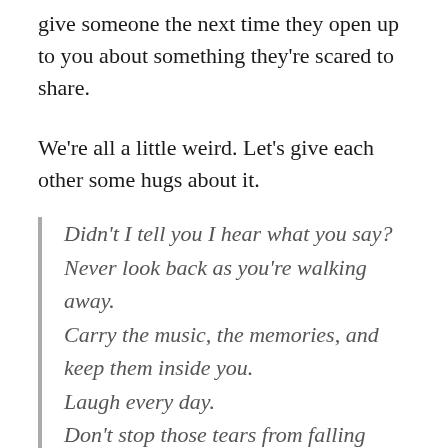give someone the next time they open up to you about something they're scared to share.
We're all a little weird. Let's give each other some hugs about it.
Didn't I tell you I hear what you say?
Never look back as you're walking away.
Carry the music, the memories, and keep them inside you.
Laugh every day.
Don't stop those tears from falling down.
This is who I am inside.
This is who I am, I'm not going to hide,